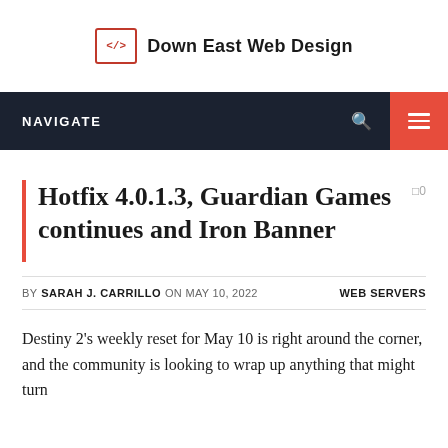Down East Web Design
[Figure (screenshot): Navigation bar with NAVIGATE label, search icon, and red hamburger menu button on dark background]
Hotfix 4.0.1.3, Guardian Games continues and Iron Banner
BY SARAH J. CARRILLO ON MAY 10, 2022   WEB SERVERS
Destiny 2's weekly reset for May 10 is right around the corner, and the community is looking to wrap up anything that might turn